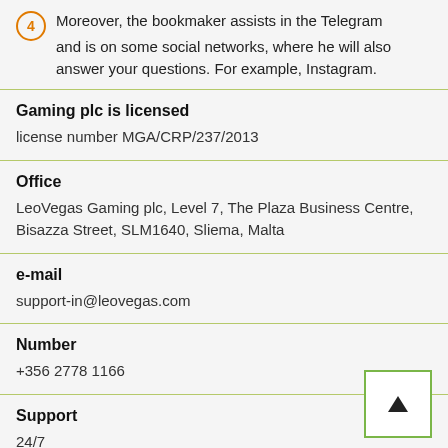4 Moreover, the bookmaker assists in the Telegram and is on some social networks, where he will also answer your questions. For example, Instagram.
Gaming plc is licensed
license number MGA/CRP/237/2013
Office
LeoVegas Gaming plc, Level 7, The Plaza Business Centre, Bisazza Street, SLM1640, Sliema, Malta
e-mail
support-in@leovegas.com
Number
+356 2778 1166
Support
24/7